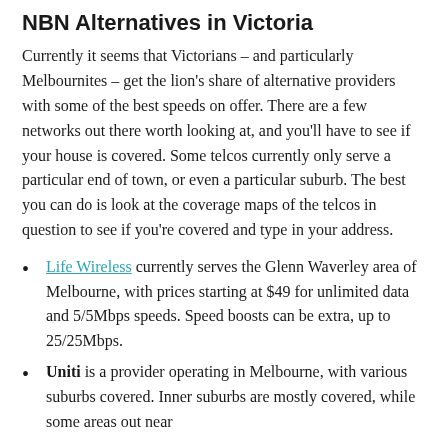NBN Alternatives in Victoria
Currently it seems that Victorians – and particularly Melbournites – get the lion's share of alternative providers with some of the best speeds on offer. There are a few networks out there worth looking at, and you'll have to see if your house is covered. Some telcos currently only serve a particular end of town, or even a particular suburb. The best you can do is look at the coverage maps of the telcos in question to see if you're covered and type in your address.
Life Wireless currently serves the Glenn Waverley area of Melbourne, with prices starting at $49 for unlimited data and 5/5Mbps speeds. Speed boosts can be extra, up to 25/25Mbps.
Uniti is a provider operating in Melbourne, with various suburbs covered. Inner suburbs are mostly covered, while some areas out near...